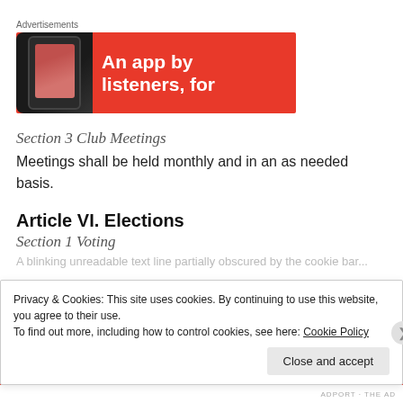Advertisements
[Figure (illustration): Red advertisement banner for a podcast/music app showing a smartphone on the left and white bold text 'An app by listeners, for' on the right red background.]
Section 3 Club Meetings
Meetings shall be held monthly and in an as needed basis.
Article VI. Elections
Section 1 Voting
Privacy & Cookies: This site uses cookies. By continuing to use this website, you agree to their use.
To find out more, including how to control cookies, see here: Cookie Policy
Close and accept